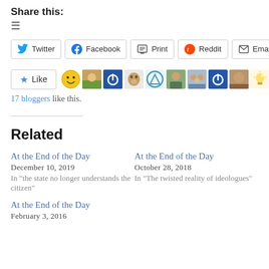Share this:
≡
Twitter  Facebook  Print  Reddit  Email
[Figure (other): Like button with star icon followed by a row of 10 avatar thumbnails representing bloggers who liked the post]
17 bloggers like this.
Related
At the End of the Day
December 10, 2019
In "the state no longer understands the citizen"
At the End of the Day
October 28, 2018
In "The twisted reality of ideologues"
At the End of the Day
February 3, 2016